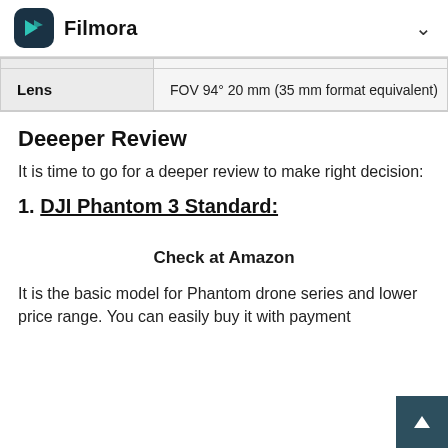Filmora
|  |  |
| --- | --- |
| Lens | FOV 94° 20 mm (35 mm format equivalent) |
Deeeper Review
It is time to go for a deeper review to make right decision:
1. DJI Phantom 3 Standard:
Check at Amazon
It is the basic model for Phantom drone series and lower price range. You can easily buy it with payment